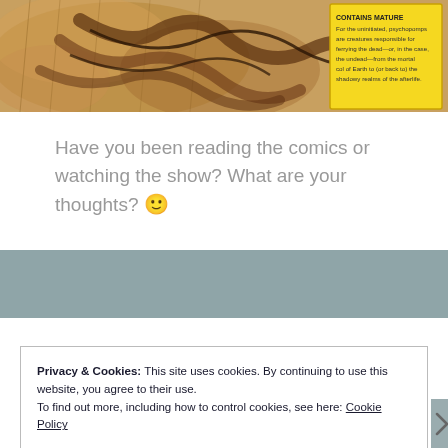[Figure (illustration): Comic book illustration showing a tentacled creature against a brown/orange watercolor background, with a yellow text box in the top right corner describing psychopomps as creatures responsible for ferrying the dead from the mortal coil of Earth to the shadowy realms of the afterlife.]
Have you been reading the comics or watching the show? What are your thoughts? 🙂
Privacy & Cookies: This site uses cookies. By continuing to use this website, you agree to their use.
To find out more, including how to control cookies, see here: Cookie Policy
Close and accept